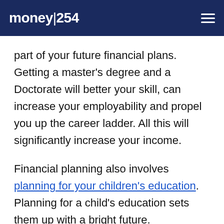money|254
part of your future financial plans. Getting a master's degree and a Doctorate will better your skill, can increase your employability and propel you up the career ladder. All this will significantly increase your income.
Financial planning also involves planning for your children's education. Planning for a child's education sets them up with a bright future.